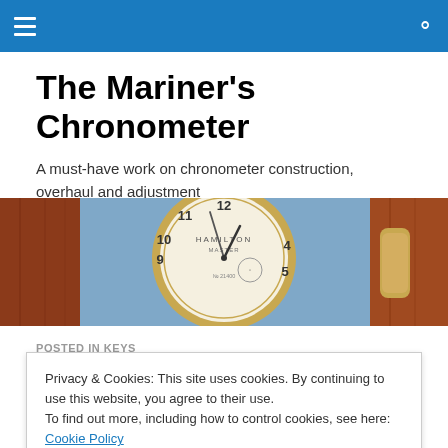The Mariner's Chronometer — navigation bar with hamburger menu and search icon
The Mariner's Chronometer
A must-have work on chronometer construction, overhaul and adjustment
[Figure (photo): Close-up photograph of a marine chronometer showing clock face with numerals 9, 10, 11, 4, 5 visible, brass casing, set in a wooden box with blue background]
POSTED IN KEYS
Privacy & Cookies: This site uses cookies. By continuing to use this website, you agree to their use.
To find out more, including how to control cookies, see here: Cookie Policy
the search box. You can also look in the "List of Posts" to